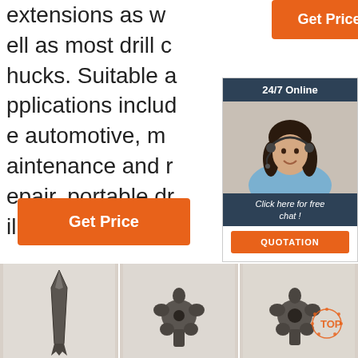extensions as well as most drill chucks. Suitable applications include automotive, maintenance and repair, portable drills and ...
[Figure (other): Orange 'Get Price' button (top right)]
[Figure (other): Orange 'Get Price' button (bottom left)]
[Figure (other): 24/7 Online chat widget with customer service representative photo, 'Click here for free chat!' text, and orange QUOTATION button]
[Figure (photo): Photo of a single elongated drill bit / chisel point tool]
[Figure (photo): Photo of a multi-point drill bit (cross-head type) from above]
[Figure (photo): Photo of a multi-point drill bit with TOP logo watermark]